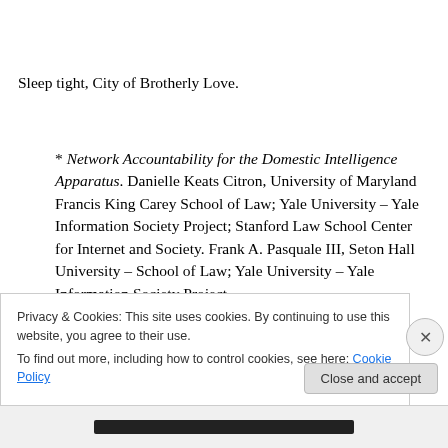Sleep tight, City of Brotherly Love.
* Network Accountability for the Domestic Intelligence Apparatus. Danielle Keats Citron, University of Maryland Francis King Carey School of Law; Yale University – Yale Information Society Project; Stanford Law School Center for Internet and Society. Frank A. Pasquale III, Seton Hall University – School of Law; Yale University – Yale Information Society Project.
Privacy & Cookies: This site uses cookies. By continuing to use this website, you agree to their use.
To find out more, including how to control cookies, see here: Cookie Policy
Close and accept